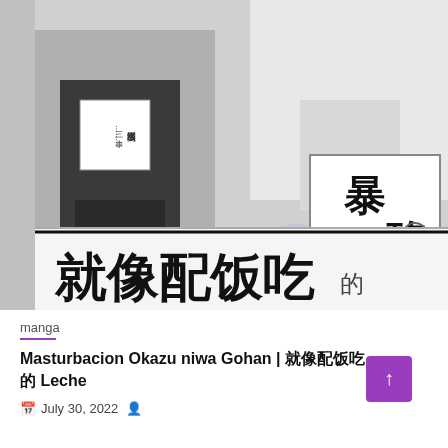[Figure (illustration): Manga cover page in black and white showing characters, with Chinese title text '就像配饭吃' and Japanese stylized logo. Contains watermarks from 'Mafuyu presents' and '暴珞汉化组' translation group.]
manga
Masturbacion Okazu niwa Gohan | 就像配饭吃 Leche
July 30, 2022